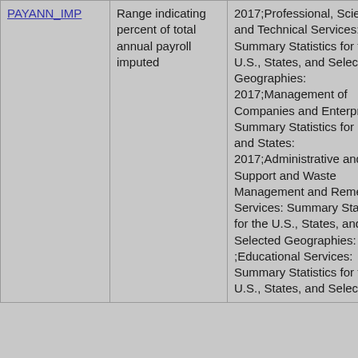| PAYANN_IMP | Range indicating percent of total annual payroll imputed | 2017;Professional, Scientific, and Technical Services: Summary Statistics for the U.S., States, and Selected Geographies: 2017;Management of Companies and Enterprises: Summary Statistics for U.S. and States: 2017;Administrative and Support and Waste Management and Remediation Services: Summary Statistics for the U.S., States, and Selected Geographies: 2017 ;Educational Services: Summary Statistics for the U.S., States, and Selected... | not required | P... |